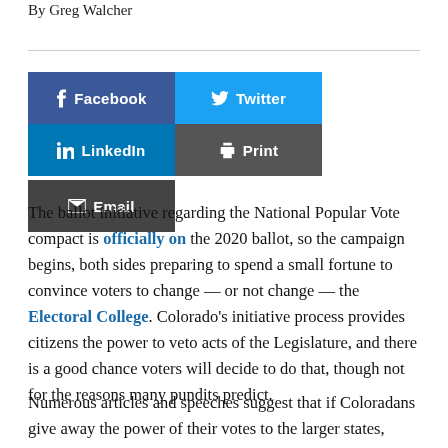By Greg Walcher
[Figure (infographic): Social sharing buttons: Facebook (blue), Twitter (light blue), LinkedIn (dark blue), Print (dark gray), Email (dark gray)]
The ballot initiative regarding the National Popular Vote compact is officially on the 2020 ballot, so the campaign begins, both sides preparing to spend a small fortune to convince voters to change — or not change — the Electoral College. Colorado's initiative process provides citizens the power to veto acts of the Legislature, and there is a good chance voters will decide to do that, though not for the reasons many pundits predict.
Numerous articles and speeches suggest that if Coloradans give away the power of their votes to the larger states, candidates